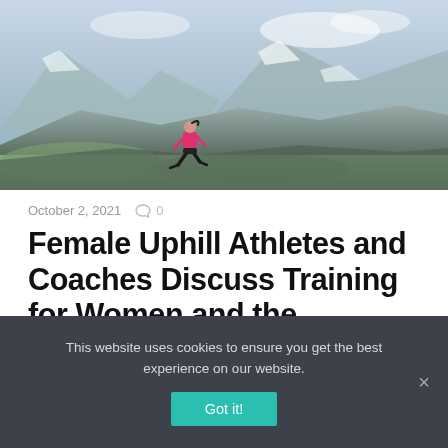[Figure (photo): A woman in a pink jacket and dark shorts running uphill on rocky mountain terrain with snowy peaks and misty sky in the background.]
October 2, 2021  ○ 0
Female Uphill Athletes and Coaches Discuss Training for Women and the Pressure to Prove Themselves
This website uses cookies to ensure you get the best experience on our website.
Got it!